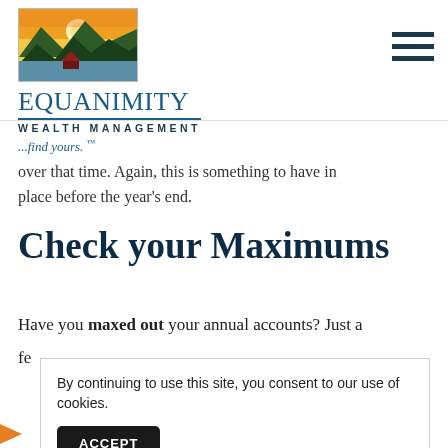[Figure (logo): Equanimity Wealth Management logo — landscape painting showing mountains, sunset, and water above the brand name]
...find yours. ™
over that time. Again, this is something to have in place before the year's end.
Check your Maximums
Have you maxed out your annual accounts? Just a fe
By continuing to use this site, you consent to our use of cookies.
ACCEPT